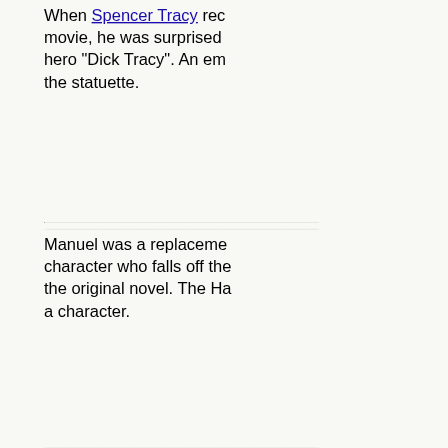When Spencer Tracy rec... movie, he was surprised hero "Dick Tracy". An em... the statuette.
Manuel was a replaceme... character who falls off the... the original novel. The Ha... a character.